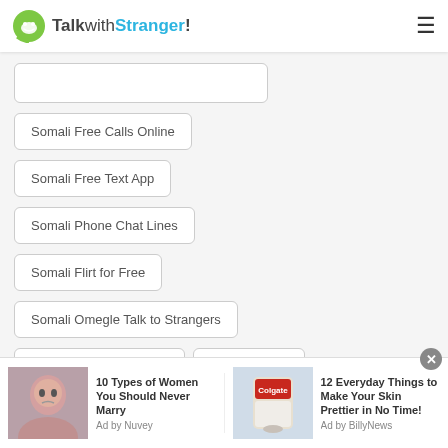TalkwithStranger!
Somali Free Calls Online
Somali Free Text App
Somali Phone Chat Lines
Somali Flirt for Free
Somali Omegle Talk to Strangers
Somali Free Phone Call
Somali Chats
Somali Chatrandom Gay
Somali Online Chat
Somali Chat with Random People
[Figure (screenshot): Ad banner: '10 Types of Women You Should Never Marry' by Nuvey, and '12 Everyday Things to Make Your Skin Prettier in No Time!' by BillyNews]